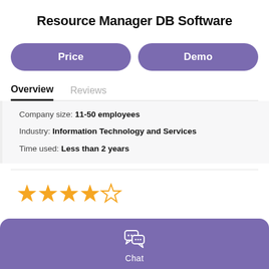Resource Manager DB Software
Price
Demo
Overview
Reviews
Company size: 11-50 employees
Industry: Information Technology and Services
Time used: Less than 2 years
[Figure (other): 4 out of 5 orange star rating]
[Figure (other): Chat button bar with chat bubble icon and label 'Chat']